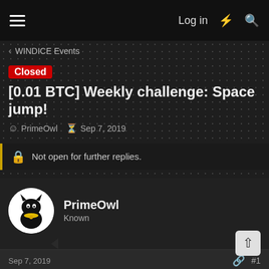Log in
WINDICE Events
Closed [0.01 BTC] Weekly challenge: Space jump!
PrimeOwl · Sep 7, 2019
Not open for further replies.
PrimeOwl
Known
Sep 7, 2019  #1
Greetings Windicers!
This week I want invite you to test our hyperspace engine power 🚀☢ All players who achieve the challenge in the next 7 days, will get a share in the prize pool!